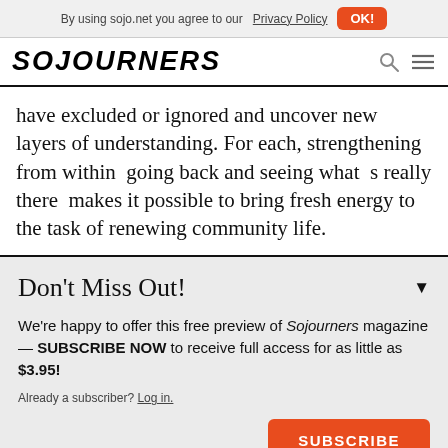By using sojo.net you agree to our Privacy Policy  OK!
[Figure (logo): Sojourners logo in bold italic uppercase letters]
have excluded or ignored and uncover new layers of understanding. For each, strengthening from within going back and seeing what s really there makes it possible to bring fresh energy to the task of renewing community life.
Don't Miss Out!
We're happy to offer this free preview of Sojourners magazine — SUBSCRIBE NOW to receive full access for as little as $3.95!
Already a subscriber? Log in.